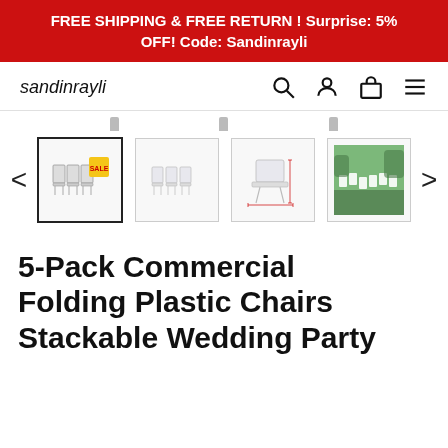FREE SHIPPING & FREE RETURN ! Surprise: 5% OFF! Code: Sandinrayli
[Figure (logo): sandinrayli brand logo and navigation icons (search, user, cart, menu)]
[Figure (photo): Product thumbnail carousel showing 4 images of folding plastic chairs, with left and right navigation arrows]
5-Pack Commercial Folding Plastic Chairs Stackable Wedding Party